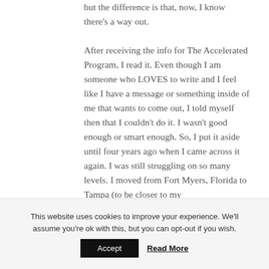but the difference is that, now, I know there's a way out. After receiving the info for The Accelerated Program, I read it. Even though I am someone who LOVES to write and I feel like I have a message or something inside of me that wants to come out, I told myself then that I couldn't do it. I wasn't good enough or smart enough. So, I put it aside until four years ago when I came across it again. I was still struggling on so many levels. I moved from Fort Myers, Florida to Tampa (to be closer to my
This website uses cookies to improve your experience. We'll assume you're ok with this, but you can opt-out if you wish.
Accept   Read More